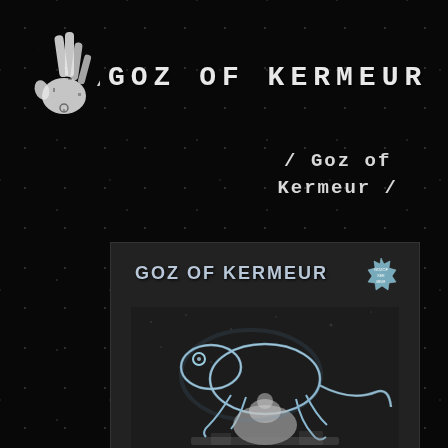[Figure (logo): White hand print / stamp logo in upper left corner]
/ GOZ OF KERMEUR /
/ Goz of Kermeur /
[Figure (photo): Album cover for Goz of Kermeur - dark gray background with band name text at top, decorative starburst badge top right, and a black and white illustration of a lizard/frog creature glowing in neon outline over a scene with a person, in lower portion of cover]